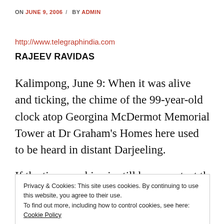ON JUNE 9, 2006 / BY ADMIN
http://www.telegraphindia.com
RAJEEV RAVIDAS
Kalimpong, June 9: When it was alive and ticking, the chime of the 99-year-old clock atop Georgina McDermot Memorial Tower at Dr Graham's Homes here used to be heard in distant Darjeeling.
If the time machine... (partially visible line)
Privacy & Cookies: This site uses cookies. By continuing to use this website, you agree to their use.
To find out more, including how to control cookies, see here: Cookie Policy
Close and accept
least nearer home.